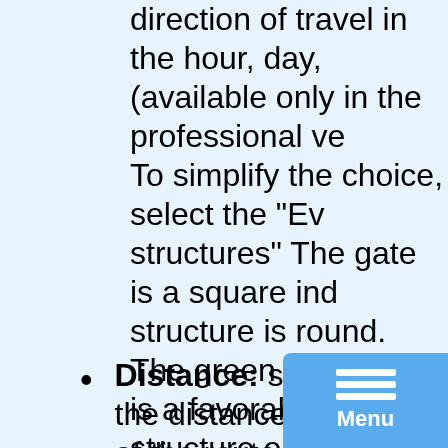direction of travel in the hour, day, (available only in the professional ve To simplify the choice, select the "Ev structures" The gate is a square ind structure is round. The green color d is a favorable structure or a happy g position, yellow is the average direc direction that is not suitable for the t only in the professional version).
Distance: shows you the distance f of the route to another.
Altitude: shows the altitude of the p sea level. Very convenient to se